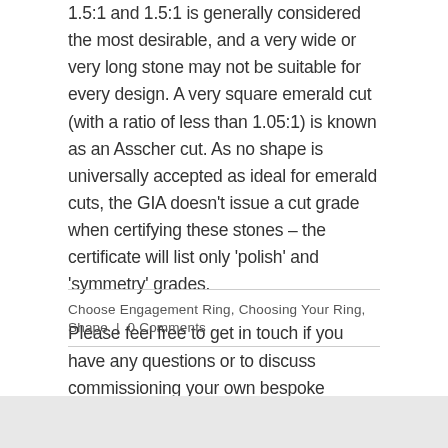1.5:1 and 1.5:1 is generally considered the most desirable, and a very wide or very long stone may not be suitable for every design. A very square emerald cut (with a ratio of less than 1.05:1) is known as an Asscher cut. As no shape is universally accepted as ideal for emerald cuts, the GIA doesn't issue a cut grade when certifying these stones – the certificate will list only 'polish' and 'symmetry' grades.
Please feel free to get in touch if you have any questions or to discuss commissioning your own bespoke design.
Choose Engagement Ring, Choosing Your Ring, Shape  |  0 Comments